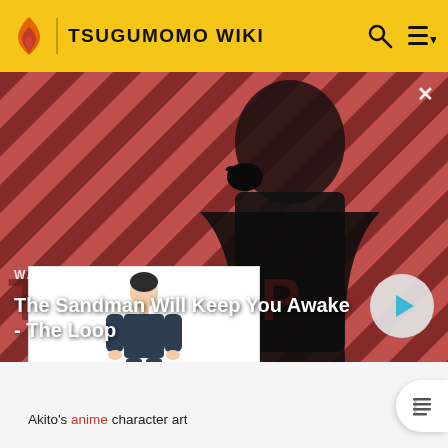TSUGUMOMO WIKI
[Figure (screenshot): Video thumbnail for 'The Sandman Will Keep You Awake - The Loop' with a dark-clad figure and a raven on a red diagonal striped background. Shows WATCH • 01:40 label and a play button.]
[Figure (illustration): Akito's anime character art — full body standing figure in dark pants and shoes against white background]
Akito's anime character art